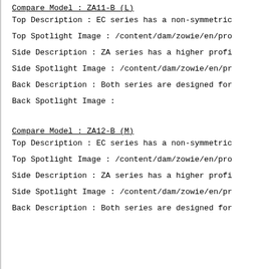Compare Model : ZA11-B (L)
Top Description : EC series has a non-symmetric
Top Spotlight Image : /content/dam/zowie/en/pro
Side Description : ZA series has a higher profi
Side Spotlight Image : /content/dam/zowie/en/pr
Back Description : Both series are designed for
Back Spotlight Image :
Compare Model : ZA12-B (M)
Top Description : EC series has a non-symmetric
Top Spotlight Image : /content/dam/zowie/en/pro
Side Description : ZA series has a higher profi
Side Spotlight Image : /content/dam/zowie/en/pr
Back Description : Both series are designed for